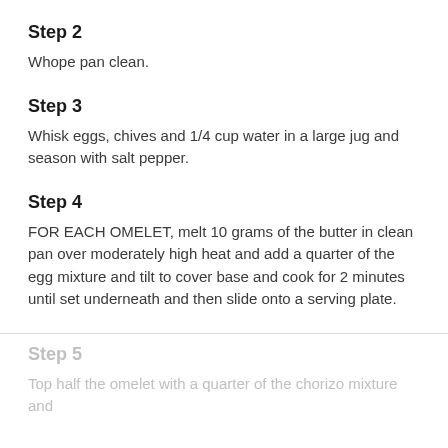Step 2
Whope pan clean.
Step 3
Whisk eggs, chives and 1/4 cup water in a large jug and season with salt pepper.
Step 4
FOR EACH OMELET, melt 10 grams of the butter in clean pan over moderately high heat and add a quarter of the egg mixture and tilt to cover base and cook for 2 minutes until set underneath and then slide onto a serving plate.
Step 5
Top half the omelet with a quarter of the chorizo mixture and